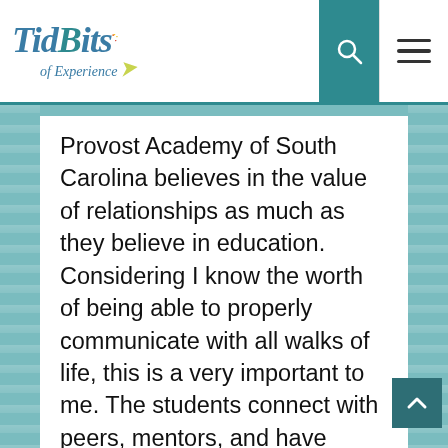TidBits of Experience
Provost Academy of South Carolina believes in the value of relationships as much as they believe in education. Considering I know the worth of being able to properly communicate with all walks of life, this is a very important to me. The students connect with peers, mentors, and have many other opportunities to build those relationships. Provost Academy is filled with teachers who really care about their students as people instead of just another student on their roster. Students can grow and thrive from the